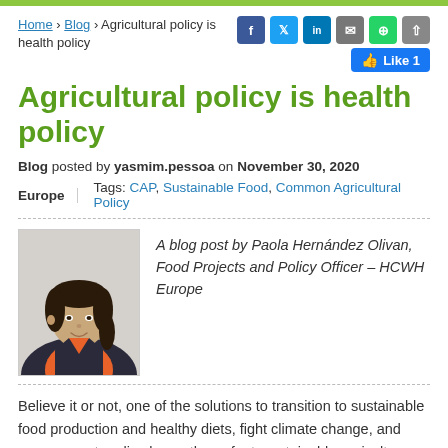Home > Blog > Agricultural policy is health policy
Agricultural policy is health policy
Blog posted by yasmim.pessoa on November 30, 2020
Europe | Tags: CAP, Sustainable Food, Common Agricultural Policy
[Figure (photo): Portrait photo of Paola Hernández Olivan, a woman with dark hair, wearing an orange top and dark blazer, smiling]
A blog post by Paola Hernández Olivan, Food Projects and Policy Officer – HCWH Europe
Believe it or not, one of the solutions to transition to sustainable food production and healthy diets, fight climate change, and preserve nature lies beneath our feet: sustainable agriculture. The Common Agricultural Policy (CAP) plays a key role in supporting the EU's